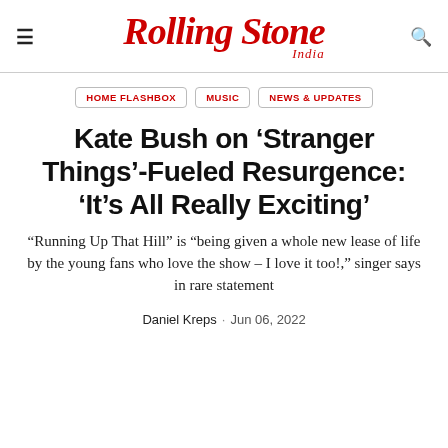Rolling Stone India
HOME FLASHBOX
MUSIC
NEWS & UPDATES
Kate Bush on ‘Stranger Things’-Fueled Resurgence: ‘It’s All Really Exciting’
“Running Up That Hill” is “being given a whole new lease of life by the young fans who love the show – I love it too!,” singer says in rare statement
Daniel Kreps · Jun 06, 2022